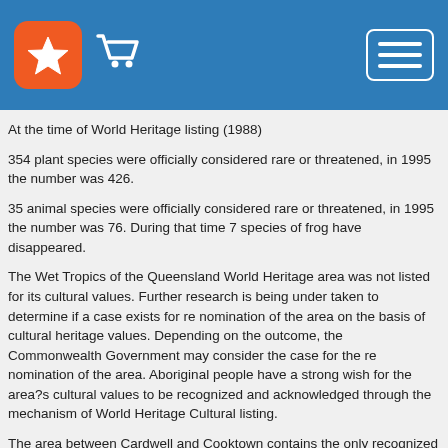Website header with star logo, cart icon, and menu button
At the time of World Heritage listing (1988)
354 plant species were officially considered rare or threatened, in 1995 the number was 426.
35 animal species were officially considered rare or threatened, in 1995 the number was 76. During that time 7 species of frog have disappeared.
The Wet Tropics of the Queensland World Heritage area was not listed for its cultural values. Further research is being under taken to determine if a case exists for re nomination of the area on the basis of cultural heritage values. Depending on the outcome, the Commonwealth Government may consider the case for the re nomination of the area. Aboriginal people have a strong wish for the area?s cultural values to be recognized and acknowledged through the mechanism of World Heritage Cultural listing.
The area between Cardwell and Cooktown contains the only recognized existing Australian aboriginal rainforest culture and provides a major component of the cultural record of these rainforest